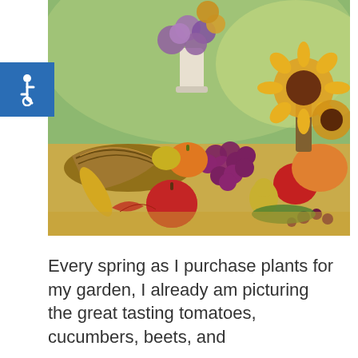[Figure (photo): A colorful autumn harvest scene with a wicker cornucopia basket overflowing with grapes, apples, pumpkins, and other fruits and vegetables. Behind it are floral arrangements including purple wildflowers and bright yellow sunflowers, set against a blurred green outdoor background. An accessibility wheelchair icon badge is overlaid in the upper-left corner of the image.]
Every spring as I purchase plants for my garden, I already am picturing the great tasting tomatoes, cucumbers, beets, and